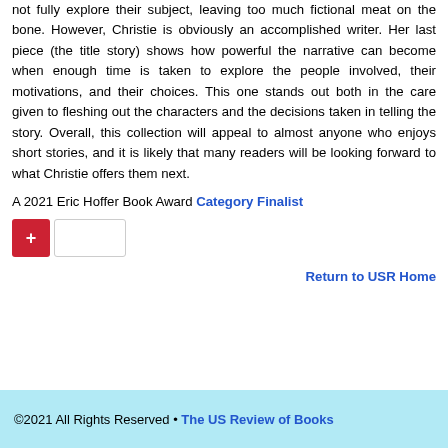not fully explore their subject, leaving too much fictional meat on the bone. However, Christie is obviously an accomplished writer. Her last piece (the title story) shows how powerful the narrative can become when enough time is taken to explore the people involved, their motivations, and their choices. This one stands out both in the care given to fleshing out the characters and the decisions taken in telling the story. Overall, this collection will appeal to almost anyone who enjoys short stories, and it is likely that many readers will be looking forward to what Christie offers them next.
A 2021 Eric Hoffer Book Award Category Finalist
[Figure (other): A red square button with a white plus sign followed by an empty white input/count box]
Return to USR Home
©2021 All Rights Reserved • The US Review of Books